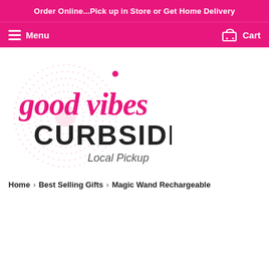Order Online...Pick up in Store or Get Home Delivery
[Figure (logo): Good Vibes Curbside Local Pickup logo — pink cursive 'good vibes' text with decorative circular dotted background, bold black 'CURBSIDE' text, and italic 'Local Pickup' below]
Home › Best Selling Gifts › Magic Wand Rechargeable